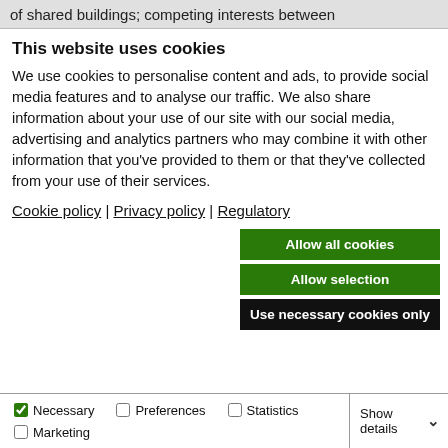of shared buildings; competing interests between
This website uses cookies
We use cookies to personalise content and ads, to provide social media features and to analyse our traffic. We also share information about your use of our site with our social media, advertising and analytics partners who may combine it with other information that you’ve provided to them or that they’ve collected from your use of their services.
Cookie policy | Privacy policy | Regulatory
Allow all cookies
Allow selection
Use necessary cookies only
Necessary  Preferences  Statistics  Marketing  Show details